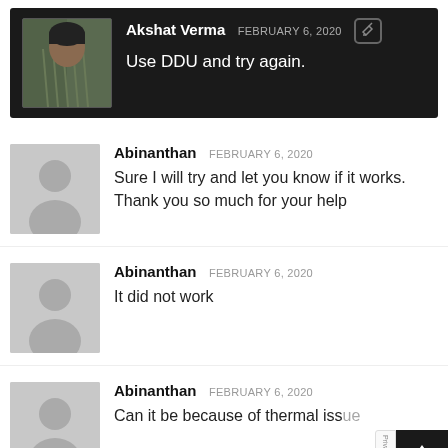Akshat Verma FEBRUARY 6, 2020 Use DDU and try again.
Abinanthan FEBRUARY 6, 2020 Sure I will try and let you know if it works. Thank you so much for your help
Abinanthan FEBRUARY 6, 2020 It did not work
Abinanthan FEBRUARY 6, 2020 Can it be because of thermal issue